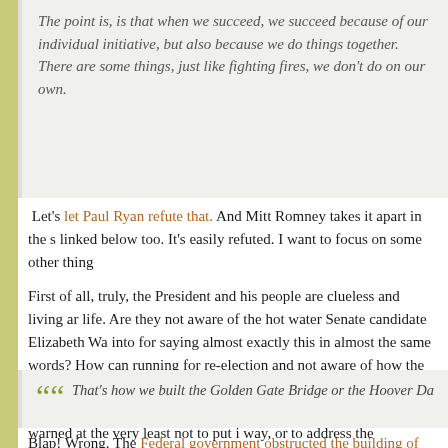The point is, is that when we succeed, we succeed because of our individual initiative, but also because we do things together. There are some things, just like fighting fires, we don't do on our own.
Let's let Paul Ryan refute that. And Mitt Romney takes it apart in the speech linked below too. It's easily refuted. I want to focus on some other things.
First of all, truly, the President and his people are clueless and living an alternative life. Are they not aware of the hot water Senate candidate Elizabeth Warren got into for saying almost exactly this in almost the same words? How can you be running for re-election and not aware of how the Senate campaigns are going and avoiding their mistakes? If the President had anyone competent in the speechwriting shop, he'd have been warned at the very least not to put it this way, or to address the objections.
Similarly, here's another instance of the speechwriters citing historical examples that don't support the point they're making. A sentence or two later Obama, citing things the Federal government did for us, says:
That's how we built the Golden Gate Bridge or the Hoover Da
Blap! Wrong. The Federal government obstructed the building of the G